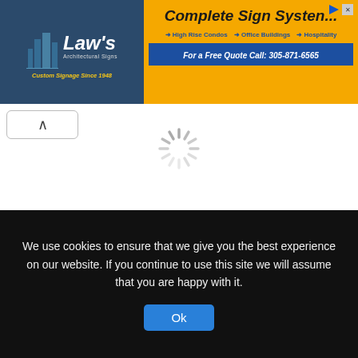[Figure (screenshot): Banner advertisement for Law's Architectural Signs on the left (navy blue background, white and yellow text) and Complete Sign Systems on the right (orange background, with arrows for High Rise Condos, Office Buildings, Hospitality, and phone number 305-871-6565)]
[Figure (screenshot): Loading spinner (rotating circle with spokes) centered on white background]
Ben10 Baseball ..
Help Ben 10 hit all the watches to move on to the next round.
246
We use cookies to ensure that we give you the best experience on our website. If you continue to use this site we will assume that you are happy with it.
Ok